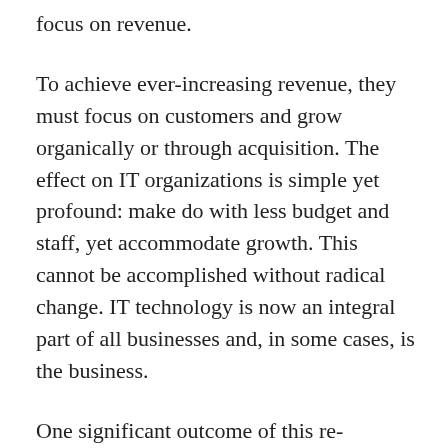focus on revenue.
To achieve ever-increasing revenue, they must focus on customers and grow organically or through acquisition. The effect on IT organizations is simple yet profound: make do with less budget and staff, yet accommodate growth. This cannot be accomplished without radical change. IT technology is now an integral part of all businesses and, in some cases, is the business.
One significant outcome of this re-evaluation of the IT function is the return of the services concept. IT is the keeper of the corporate assets and has assumed the responsibility of providing all technology services required to meet revenue goals. Outsourcing of IT technology has reached its maximum profit and must be tempered with ever-increasing “insourcing” to